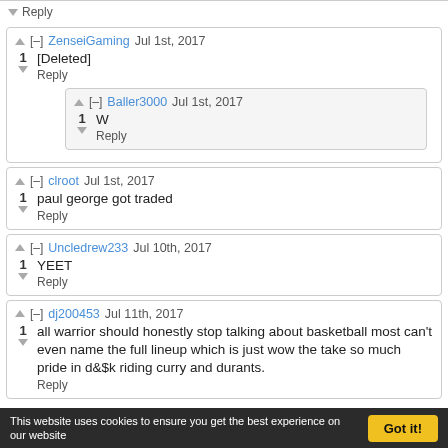Reply
ZenseiGaming Jul 1st, 2017
1 [Deleted]
Reply
Baller3000 Jul 1st, 2017
1 W
Reply
clroot Jul 1st, 2017
1 paul george got traded
Reply
Uncledrew233 Jul 10th, 2017
1 YEET
Reply
dj200453 Jul 11th, 2017
1 all warrior should honestly stop talking about basketball most can't even name the full lineup which is just wow the take so much pride in d&$k riding curry and durants.
Reply
This website uses cookies to ensure you get the best experience on our website   Got it!